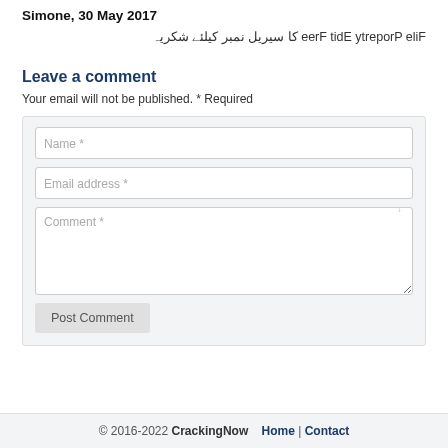Simone, 30 May 2017
File Property Edit Free کا سیریل نمبر کیلئے شکریہ
Leave a comment
Your email will not be published. * Required
[Figure (screenshot): Comment form with Name, Email address, Comment fields and Post Comment button]
© 2016-2022 CrackingNow   Home | Contact